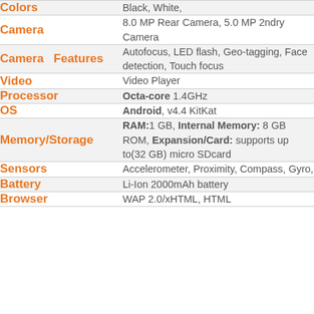| Spec | Value |
| --- | --- |
| Colors | Black, White, |
| Camera | 8.0 MP Rear Camera, 5.0 MP 2ndry Camera |
| Camera Features | Autofocus, LED flash, Geo-tagging, Face detection, Touch focus |
| Video | Video Player |
| Processor | Octa-core 1.4GHz |
| OS | Android, v4.4 KitKat |
| Memory/Storage | RAM:1 GB, Internal Memory: 8 GB ROM, Expansion/Card: supports up to(32 GB) micro SDcard |
| Sensors | Accelerometer, Proximity, Compass, Gyro, |
| Battery | Li-Ion 2000mAh battery |
| Browser | WAP 2.0/xHTML, HTML |